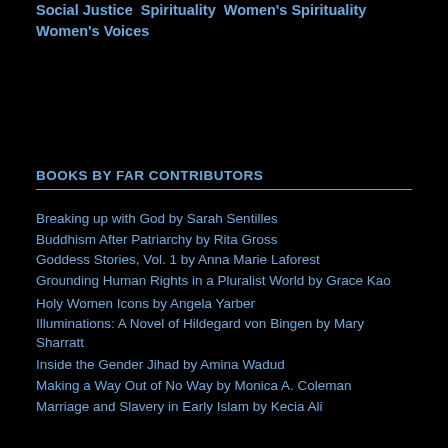Social Justice  Spirituality  Women's Spirituality  Women's Voices
BOOKS BY FAR CONTRIBUTORS
Breaking up with God by Sarah Sentilles
Buddhism After Patriarchy by Rita Gross
Goddess Stories, Vol. 1 by Anna Marie Laforest
Grounding Human Rights in a Pluralist World by Grace Kao
Holy Women Icons by Angela Yarber
Illuminations: A Novel of Hildegard von Bingen by Mary Sharratt
Inside the Gender Jihad by Amina Wadud
Making a Way Out of No Way by Monica A. Coleman
Marriage and Slavery in Early Islam by Kecia Ali